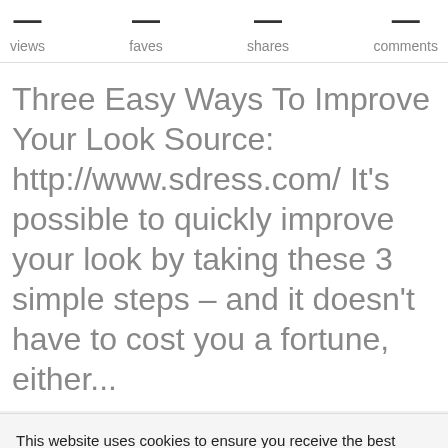views   faves   shares   comments
Three Easy Ways To Improve Your Look Source: http://www.sdress.com/ It's possible to quickly improve your look by taking these 3 simple steps – and it doesn't have to cost you a fortune, either...
This website uses cookies to ensure you receive the best experience. By clicking "Accept" you are agreeing to our cookie policy. You can change your cookies setting at any time and read how we use them in our Privacy & Cookies Policy.
Accept   Learn more